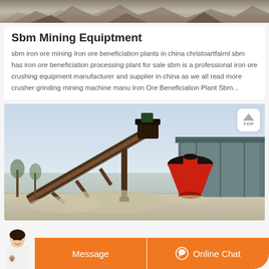[Figure (photo): Top strip showing a mining/quarry scene with rubble and machinery, partially cropped]
Sbm Mining Equiptment
sbm iron ore mining Iron ore beneficiation plants in china christoartfairnl sbm has iron ore beneficiation processing plant for sale sbm is a professional iron ore crushing equipment manufacturer and supplier in china as we all read more crusher grinding mining machine manu Iron Ore Beneficiation Plant Sbm...
[Figure (photo): Mining equipment photo showing a large conveyor belt system and cone crusher with industrial shed structure in background, outdoor setting with overcast sky]
Message
Online Chat